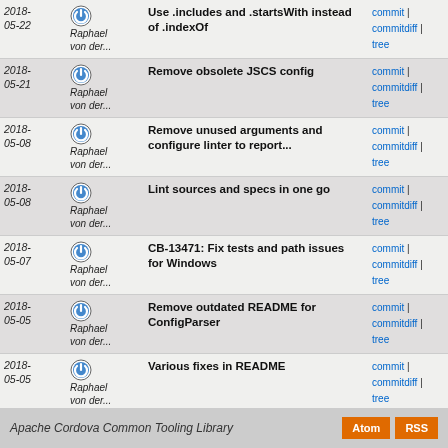2018-05-22 | Raphael von der... | Use .includes and .startsWith instead of .indexOf | commit | commitdiff | tree
2018-05-21 | Raphael von der... | Remove obsolete JSCS config | commit | commitdiff | tree
2018-05-08 | Raphael von der... | Remove unused arguments and configure linter to report... | commit | commitdiff | tree
2018-05-08 | Raphael von der... | Lint sources and specs in one go | commit | commitdiff | tree
2018-05-07 | Raphael von der... | CB-13471: Fix tests and path issues for Windows | commit | commitdiff | tree
2018-05-05 | Raphael von der... | Remove outdated README for ConfigParser | commit | commitdiff | tree
2018-05-05 | Raphael von der... | Various fixes in README | commit | commitdiff | tree
2018-05-04 | Raphael von der... | Fix repository URL in package.json | commit | commitdiff | tree
Apache Cordova Common Tooling Library